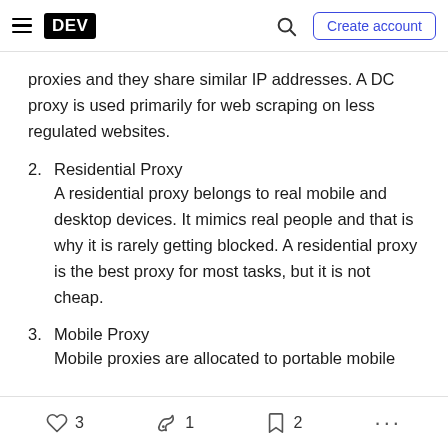DEV — Create account
proxies and they share similar IP addresses. A DC proxy is used primarily for web scraping on less regulated websites.
2. Residential Proxy
A residential proxy belongs to real mobile and desktop devices. It mimics real people and that is why it is rarely getting blocked. A residential proxy is the best proxy for most tasks, but it is not cheap.
3. Mobile Proxy
Mobile proxies are allocated to portable mobile
♡ 3   1   2   ...